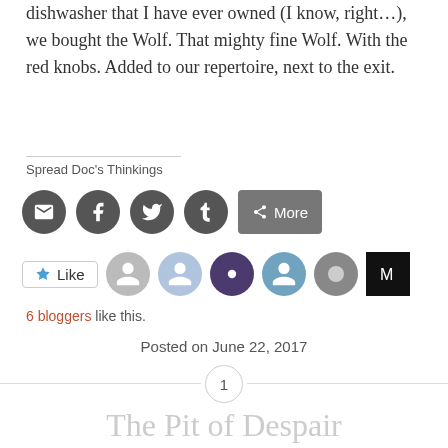dishwasher that I have ever owned (I know, right…), we bought the Wolf. That mighty fine Wolf. With the red knobs. Added to our repertoire, next to the exit.
Spread Doc's Thinkings
[Figure (infographic): Social sharing icons: email, facebook, twitter, tumblr, and a More button]
[Figure (infographic): Like button with star icon, followed by 6 blogger avatar thumbnails]
6 bloggers like this.
Posted on June 22, 2017
1
The Pit of Despair